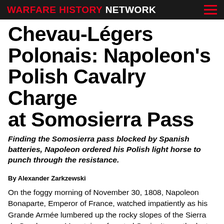WARFARE HISTORY NETWORK
Chevau-Légers Polonais: Napoleon's Polish Cavalry Charge at Somosierra Pass
Finding the Somosierra pass blocked by Spanish batteries, Napoleon ordered his Polish light horse to punch through the resistance.
By Alexander Zarkzewski
On the foggy morning of November 30, 1808, Napoleon Bonaparte, Emperor of France, watched impatiently as his Grande Armée lumbered up the rocky slopes of the Sierra de Guadarrama Mountains of central Spain. It was the last